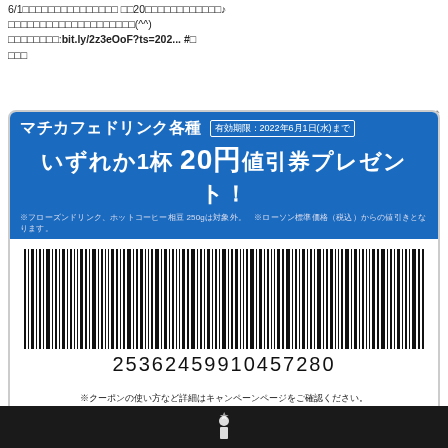6/1□□□□□□□□□□□□□□□ □□20□□□□□□□□□□□□♪□□□□□□□□□□□□□□□□□□□□(^^)□□□□□□□□:bit.ly/2z3eOoF?ts=202... #□□□□
[Figure (other): Lawson Machicafe coupon with blue header reading マチカフェドリンク各種 いずれか1杯 20円値引券プレゼント！, barcode number 25362459910457280, valid until 2022年6月1日(水)]
※クーポンの使い方など詳細はキャンペーンページをご確認ください。
※店員の方へ：スキャンできない場合は、17桁の番号を入力し、PLUキーを押してください。
※画面を明るくしてご利用ください。